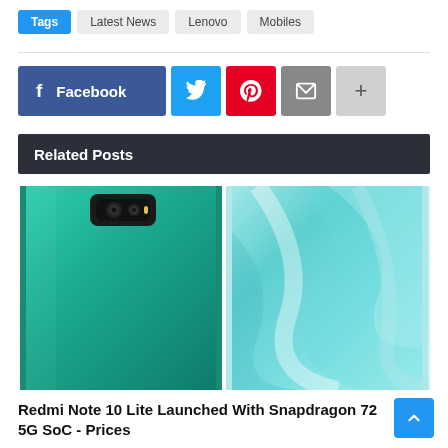Tags  Latest News  Lenovo  Mobiles
[Figure (screenshot): Social share buttons: Facebook, Twitter, Pinterest, Mail, More]
Related Posts
[Figure (photo): Two Xiaomi Redmi Note 10 Lite smartphones shown back-to-back in teal/aurora green color]
Redmi Note 10 Lite Launched With Snapdragon 72 5G SoC - Prices